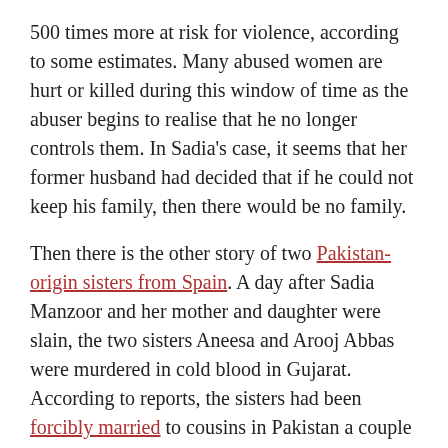500 times more at risk for violence, according to some estimates. Many abused women are hurt or killed during this window of time as the abuser begins to realise that he no longer controls them. In Sadia's case, it seems that her former husband had decided that if he could not keep his family, then there would be no family.
Then there is the other story of two Pakistan-origin sisters from Spain. A day after Sadia Manzoor and her mother and daughter were slain, the two sisters Aneesa and Arooj Abbas were murdered in cold blood in Gujarat. According to reports, the sisters had been forcibly married to cousins in Pakistan a couple of years ago and were trying to get a divorce. When their in-laws and their own family learned of their intentions, they were tricked into returning to Pakistan. Here, they faced torture and abuse. The six men who have been arrested in connection with the murder include two of their brothers and an uncle, amongst others.